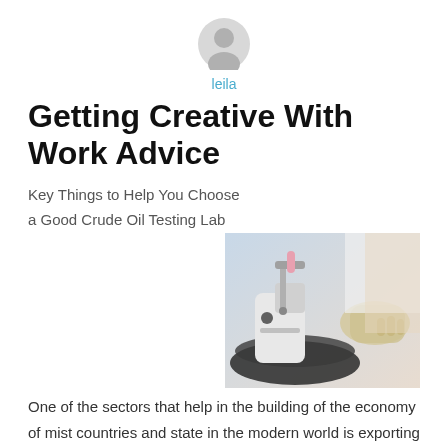[Figure (illustration): Gray circular avatar/profile icon placeholder]
leila
Getting Creative With Work Advice
Key Things to Help You Choose a Good Crude Oil Testing Lab
[Figure (photo): A laboratory setting showing a person in white gloves and lab coat operating scientific testing equipment on a circular platform, with various instruments visible]
One of the sectors that help in the building of the economy of mist countries and state in the modern world is exporting their natural resources for the foreign exchange that can be sued in other sectors of development of the country. There are a number of different things that a country can export to the